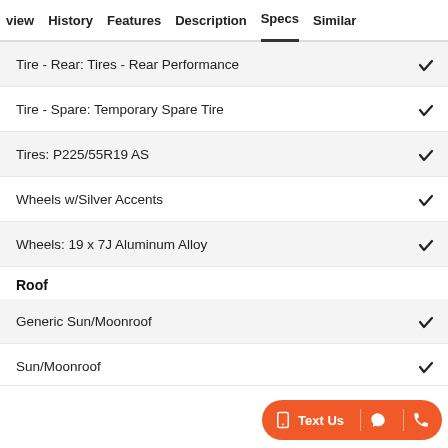view  History  Features  Description  Specs  Similar
Tire - Rear: Tires - Rear Performance ✓
Tire - Spare: Temporary Spare Tire ✓
Tires: P225/55R19 AS ✓
Wheels w/Silver Accents ✓
Wheels: 19 x 7J Aluminum Alloy ✓
Roof
Generic Sun/Moonroof ✓
Sun/Moonroof ✓